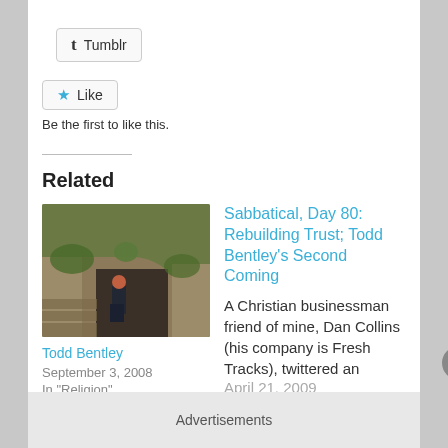[Figure (other): Tumblr share button with 't' icon and label 'Tumblr']
[Figure (other): Like button with blue star icon and label 'Like']
Be the first to like this.
Related
[Figure (photo): Photo of a person with red hair standing in front of a stone arch with greenery, related to Todd Bentley article]
Todd Bentley
September 3, 2008
In "Religion"
Sabbatical, Day 80: Rebuilding Trust; Todd Bentley's Second Coming
A Christian businessman friend of mine, Dan Collins (his company is Fresh Tracks), twittered an
April 21, 2009
Advertisements